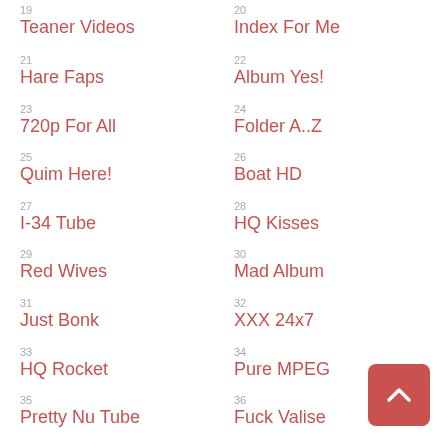19 Teaner Videos
20 Index For Me
21 Hare Faps
22 Album Yes!
23 720p For All
24 Folder A..Z
25 Quim Here!
26 Boat HD
27 I-34 Tube
28 HQ Kisses
29 Red Wives
30 Mad Album
31 Just Bonk
32 XXX 24x7
33 HQ Rocket
34 Pure MPEG
35 Pretty Nu Tube
36 Fuck Valise